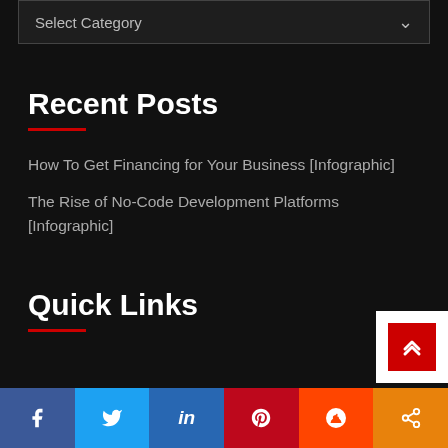Select Category
Recent Posts
How To Get Financing for Your Business [Infographic]
The Rise of No-Code Development Platforms [Infographic]
Quick Links